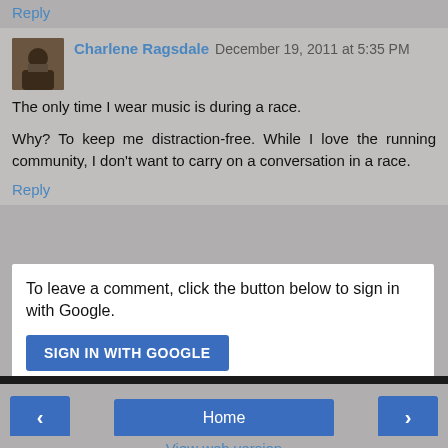Reply
Charlene Ragsdale December 19, 2011 at 5:35 PM
The only time I wear music is during a race.
Why? To keep me distraction-free. While I love the running community, I don't want to carry on a conversation in a race.
Reply
To leave a comment, click the button below to sign in with Google.
SIGN IN WITH GOOGLE
Home
View web version
Powered by Blogger.